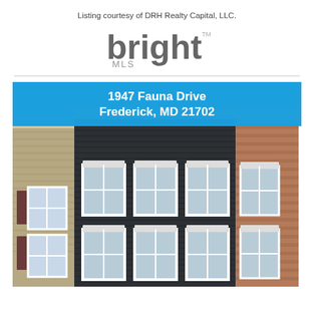Listing courtesy of DRH Realty Capital, LLC.
[Figure (logo): Bright MLS logo with stylized text 'bright' in gray with orange star accent, and 'MLS' below]
[Figure (photo): Exterior photo of a townhouse at 1947 Fauna Drive, Frederick MD 21702, showing dark navy blue vinyl siding with white-trimmed double-hung windows on two floors, flanked by tan siding on the left and brick on the right]
1947 Fauna Drive
Frederick, MD 21702